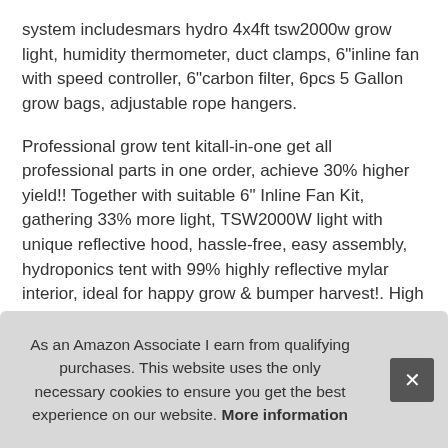system includesmars hydro 4x4ft tsw2000w grow light, humidity thermometer, duct clamps, 6"inline fan with speed controller, 6"carbon filter, 6pcs 5 Gallon grow bags, adjustable rope hangers.
Professional grow tent kitall-in-one get all professional parts in one order, achieve 30% higher yield!! Together with suitable 6" Inline Fan Kit, gathering 33% more light, TSW2000W light with unique reflective hood, hassle-free, easy assembly, hydroponics tent with 99% highly reflective mylar interior, ideal for happy grow & bumper harvest!. High efficiency energy saving plant grow lightit consuming only 300 watts output with 684pcs leds, ideal for all cycle grow & denser harvest. Efficient 6"ve... dura... to u... Cha...
As an Amazon Associate I earn from qualifying purchases. This website uses the only necessary cookies to ensure you get the best experience on our website. More information